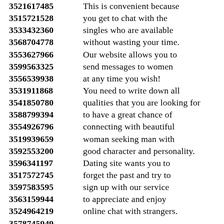3521617485 This is convenient because
3515721528 you get to chat with the
3533432360 singles who are available
3568704778 without wasting your time.
3553627966 Our website allows you to
3599563325 send messages to women
3556539938 at any time you wish!
3531911868 You need to write down all
3541850780 qualities that you are looking for
3588799394 to have a great chance of
3554926796 connecting with beautiful
3519939659 woman seeking man with
3592553200 good character and personality.
3596341197 Dating site wants you to
3517572745 forget the past and try to
3597583595 sign up with our service
3563159944 to appreciate and enjoy
3524964219 online chat with strangers.
3578745949
3525181407 We will assist you to find
3562924349 and really connect with
3517577186 women seeking for men,
3530417967 their wishes and desires.
3543987518 A website is the best way
3587908351 for women looking for love
3544854242 you get to set your pace.